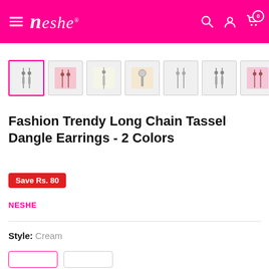Neshe — navigation header with hamburger menu, logo, search, account, and cart icons
[Figure (screenshot): Row of 7 product thumbnail images showing long chain tassel dangle earrings from various angles; first thumbnail is selected with pink border]
Fashion Trendy Long Chain Tassel Dangle Earrings - 2 Colors
Save Rs. 80
NESHE
Style: Cream